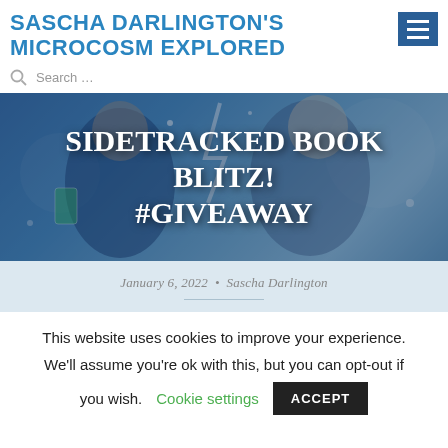SASCHA DARLINGTON'S MICROCOSM EXPLORED
[Figure (illustration): Hero banner image showing illustrated characters with text overlay 'SIDETRACKED BOOK BLITZ! #GIVEAWAY' on a blue background]
January 6, 2022 • Sascha Darlington
This website uses cookies to improve your experience. We'll assume you're ok with this, but you can opt-out if you wish. Cookie settings ACCEPT